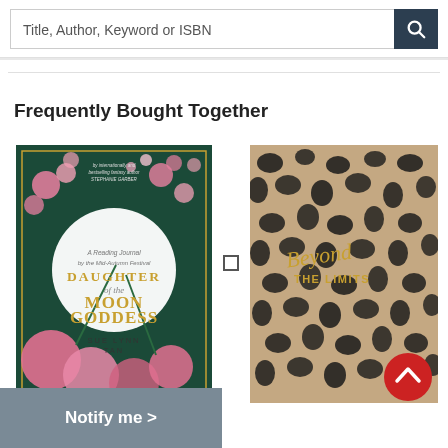Title, Author, Keyword or ISBN
Frequently Bought Together
[Figure (photo): Book cover: Daughter of the Moon Goddess by Sue Lynn Tan. Dark green background with pink flowers, birds, and a large white moon. Gold text title.]
[Figure (photo): Book cover: Beyond the Limits. Leopard print pattern in black and dusty pink with gold script title text and a red circle logo at bottom right.]
Notify me >